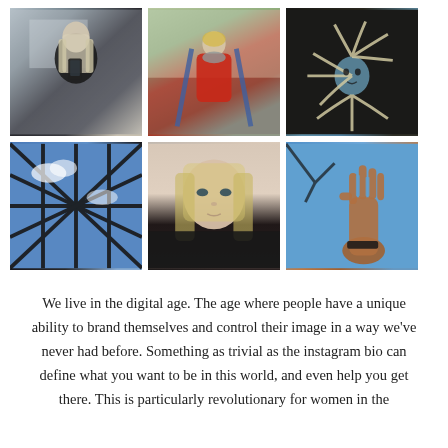[Figure (photo): A 2x3 grid of six photos: (1) selfie of blonde woman in dark top in bedroom mirror, (2) woman in red coat outdoors holding blue poles, (3) woman lying down with hair arranged in floral/mandala pattern, (4) geometric skylight viewed from below against blue sky, (5) close-up of young blonde woman in dark shirt, (6) hand raised against bright blue sky.]
We live in the digital age. The age where people have a unique ability to brand themselves and control their image in a way we've never had before. Something as trivial as the instagram bio can define what you want to be in this world, and even help you get there. This is particularly revolutionary for women in the